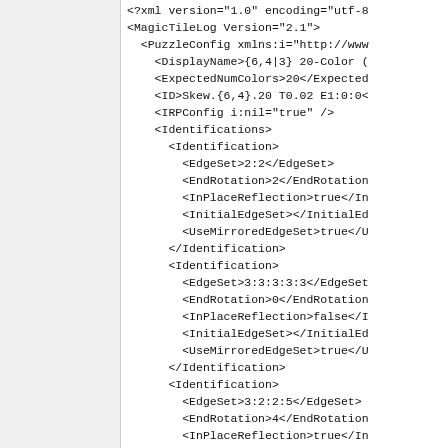[Figure (screenshot): XML code snippet showing MagicTileLog configuration with PuzzleConfig, DisplayName, ExpectedNumColors, ID, IRPConfig, Identifications elements containing multiple Identification blocks with EdgeSet, EndRotation, InPlaceReflection, InitialEdgeSet, UseMirroredEdgeSet child elements.]